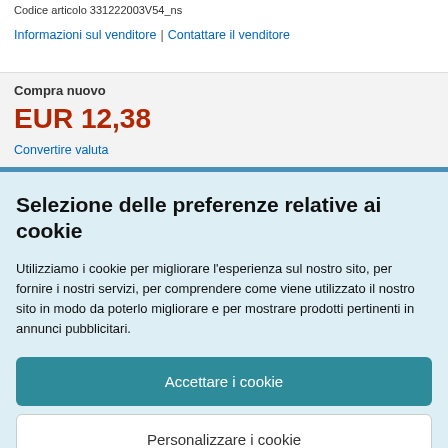Codice articolo 331222003V54_ns
Informazioni sul venditore | Contattare il venditore
Compra nuovo
EUR 12,38
Convertire valuta
Selezione delle preferenze relative ai cookie
Utilizziamo i cookie per migliorare l'esperienza sul nostro sito, per fornire i nostri servizi, per comprendere come viene utilizzato il nostro sito in modo da poterlo migliorare e per mostrare prodotti pertinenti in annunci pubblicitari.
Accettare i cookie
Personalizzare i cookie